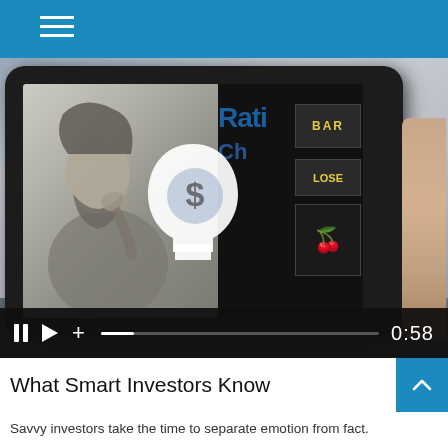[Figure (screenshot): A video thumbnail showing a tablet device being held in a hand. The tablet screen displays a black-and-white image of a bearded scholar/thinker on the left, overlaid with a white head/brain icon containing a dollar sign. On the right side of the screen are slot machine reels showing 'BAR', 'LOSE', 'HA' text and fruit symbols. Behind the tablet is a blurred room background. Video controls show pause, play, and plus icons with a progress bar and time display of 0:58.]
What Smart Investors Know
Savvy investors take the time to separate emotion from fact.